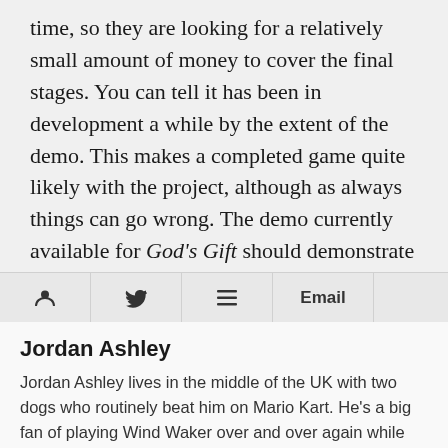time, so they are looking for a relatively small amount of money to cover the final stages. You can tell it has been in development a while by the extent of the demo. This makes a completed game quite likely with the project, although as always things can go wrong. The demo currently available for God's Gift should demonstrate why it's our Kickstarter Game of the Week and worthy of your attention.
Social share bar: person icon, Twitter icon, list icon, Email
Jordan Ashley
Jordan Ashley lives in the middle of the UK with two dogs who routinely beat him on Mario Kart. He's a big fan of playing Wind Waker over and over again while ignoring all other tasks. He also likes Craft Beer and